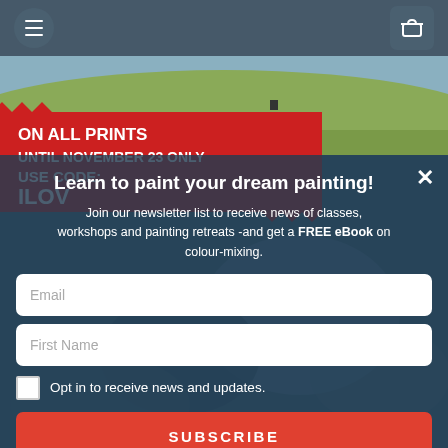[Figure (screenshot): Website screenshot showing a navigation bar with hamburger menu and cart icon, a landscape background with hills, a red jagged-edge promotional banner reading 'ON ALL PRINTS UNTIL NOVEMBER 23 ONLY USE CODE: ILOV...' and a newsletter signup modal overlay]
Learn to paint your dream painting!
Join our newsletter list to receive news of classes, workshops and painting retreats -and get a FREE eBook on colour-mixing.
Email
First Name
Opt in to receive news and updates.
SUBSCRIBE